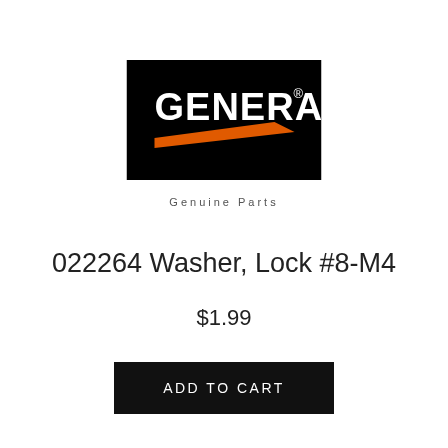[Figure (logo): Generac logo on black background with orange underline stripe and white bold text reading GENERAC with registered trademark symbol]
Genuine Parts
022264 Washer, Lock #8-M4
$1.99
ADD TO CART